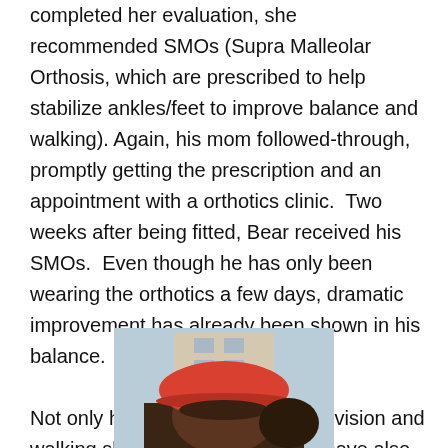completed her evaluation, she recommended SMOs (Supra Malleolar Orthosis, which are prescribed to help stabilize ankles/feet to improve balance and walking). Again, his mom followed-through, promptly getting the prescription and an appointment with a orthotics clinic.  Two weeks after being fitted, Bear received his SMOs.  Even though he has only been wearing the orthotics a few days, dramatic improvement has already been shown in his balance.

Not only has Bear improved in his vision and walking skills, his language skills have also increased.  He's now imitating and using some signs and single words. Instead of crying as he had done before, he now u
[Figure (photo): Photo of a child wearing a red hat, partially cropped at the bottom of the page]